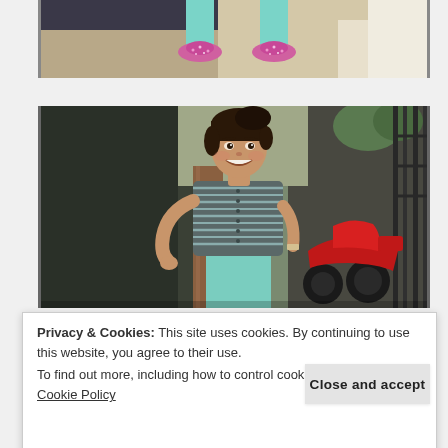[Figure (photo): Top portion of a photo showing person's feet/shoes from above — pink sparkly flats with teal/mint pants, on a tiled floor. Only the lower portion of the image is visible.]
[Figure (photo): A smiling woman wearing a navy/white striped button-up shirt and mint/teal pants, standing in front of what appears to be a store entrance. A red motorcycle is visible in the background to the right.]
Privacy & Cookies: This site uses cookies. By continuing to use this website, you agree to their use.
To find out more, including how to control cookies, see here: Cookie Policy
Close and accept
[Figure (photo): Partial bottom photo showing feet/shoes area with mint pants, barely visible at the bottom of the page.]